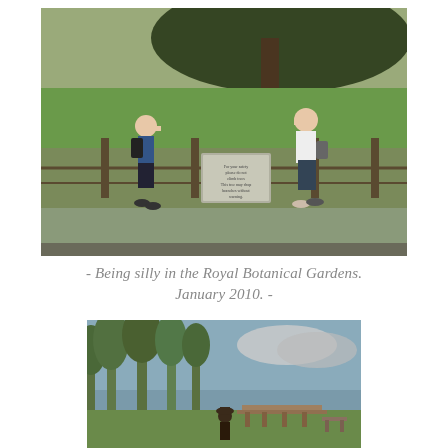[Figure (photo): Two people standing in front of a sign at a garden fence area, both with hands raised to their mouths in a surprised pose. Large tree in background, green grass lawn visible.]
- Being silly in the Royal Botanical Gardens. January 2010. -
[Figure (photo): Outdoor park scene with tall eucalyptus trees, open green lawn, a person in dark clothing and hat, wooden structures in background, partly cloudy sky.]